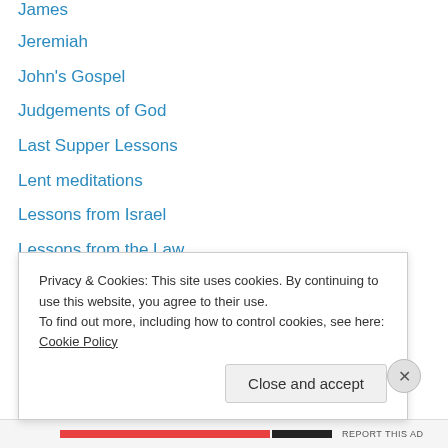James
Jeremiah
John's Gospel
Judgements of God
Last Supper Lessons
Lent meditations
Lessons from Israel
Lessons from the Law
Lessons on Growth
Life Workings
Living the Life
Living with Uncertainty Meditations
Luke's Gospel
Malachi
Privacy & Cookies: This site uses cookies. By continuing to use this website, you agree to their use. To find out more, including how to control cookies, see here: Cookie Policy
Close and accept